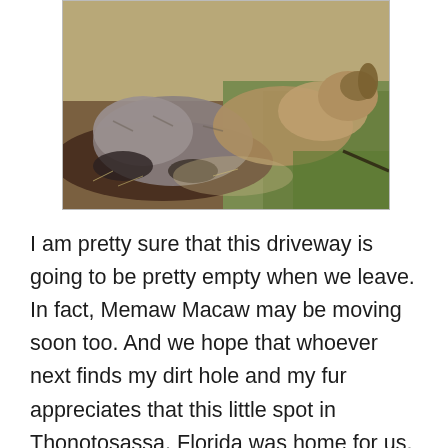[Figure (photo): Two dogs lying on dirt ground with grass visible in background. The dogs appear to be resting outdoors in a driveway or yard area.]
I am pretty sure that this driveway is going to be pretty empty when we leave.  In fact, Memaw Macaw may be moving soon too.  And we hope that whoever next finds my dirt hole and my fur appreciates that this little spot in Thonotosassa, Florida was home for us.  This little spot was appreciated.  Dirt and all.

If you have your own spot, and it makes you